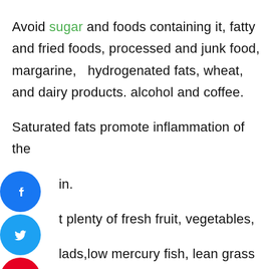Avoid sugar and foods containing it, fatty and fried foods, processed and junk food, margarine,  hydrogenated fats, wheat, and dairy products. alcohol and coffee. Saturated fats promote inflammation of the ...in. ...t plenty of fresh fruit, vegetables, ...lads,low mercury fish, lean grass fed ...heat, whole grains, beans and seeds. Researchers have discovered that yellow pigments, or carotenoids in fruit and vegetables such as carrots, tomatoes, pumpkins, plums, oranges and dark leafy...
[Figure (illustration): Three social media icons stacked vertically on the left side: Facebook (blue circle with f), Twitter (blue circle with bird), Pinterest (red circle with P)]